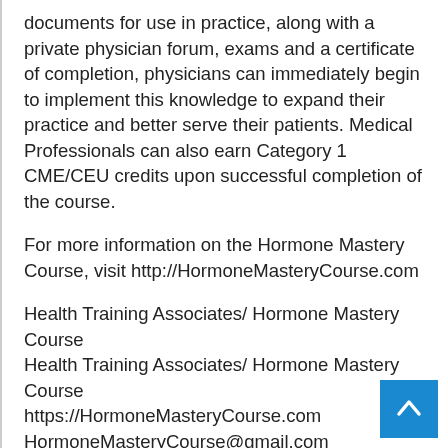documents for use in practice, along with a private physician forum, exams and a certificate of completion, physicians can immediately begin to implement this knowledge to expand their practice and better serve their patients. Medical Professionals can also earn Category 1 CME/CEU credits upon successful completion of the course.
For more information on the Hormone Mastery Course, visit http://HormoneMasteryCourse.com
Health Training Associates/ Hormone Mastery Course
Health Training Associates/ Hormone Mastery Course
https://HormoneMasteryCourse.com
HormoneMasteryCourse@gmail.com